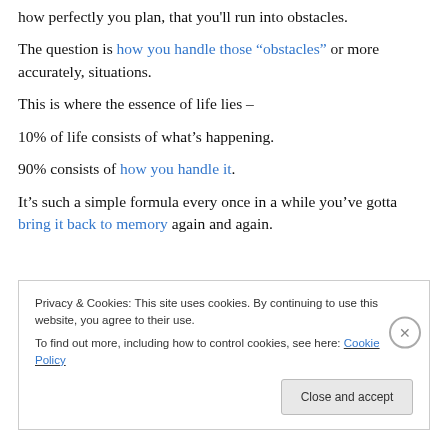how perfectly you plan, that you'll run into obstacles.
The question is how you handle those “obstacles” or more accurately, situations.
This is where the essence of life lies –
10% of life consists of what’s happening.
90% consists of how you handle it.
It’s such a simple formula every once in a while you’ve gotta bring it back to memory again and again.
Privacy & Cookies: This site uses cookies. By continuing to use this website, you agree to their use. To find out more, including how to control cookies, see here: Cookie Policy